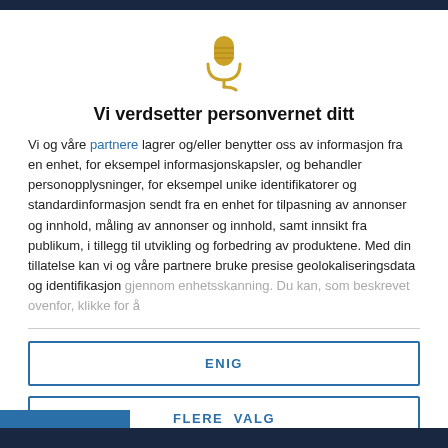[Figure (illustration): Golden microphone icon with cord]
Vi verdsetter personvernet ditt
Vi og våre partnere lagrer og/eller benytter oss av informasjon fra en enhet, for eksempel informasjonskapsler, og behandler personopplysninger, for eksempel unike identifikatorer og standardinformasjon sendt fra en enhet for tilpasning av annonser og innhold, måling av annonser og innhold, samt innsikt fra publikum, i tillegg til utvikling og forbedring av produktene. Med din tillatelse kan vi og våre partnere bruke presise geolokaliseringsdata og identifikasjon gjennom enhetsskanning. Du kan, som beskrevet ovenfor, klikke for å
ENIG
FLERE VALG